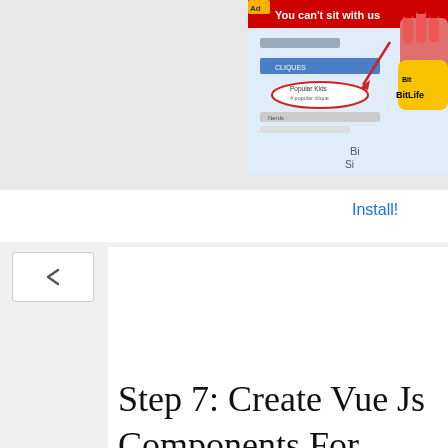[Figure (screenshot): Ad banner showing BitLife app advertisement with 'You can't sit with us' text and social media UI mockup, BitLife logo, and Install! link]
Recommended:- Laravel 8 Vue Drag and Drop File/Image Uploader using Dropzone
Step 7: Create Vue Js Components For Crud App